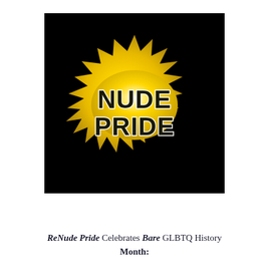[Figure (logo): Yellow starburst/sunburst logo on black background with text NUDE PRIDE in bold black letters with white outline]
ReNude Pride Celebrates Bare GLBTQ History Month: